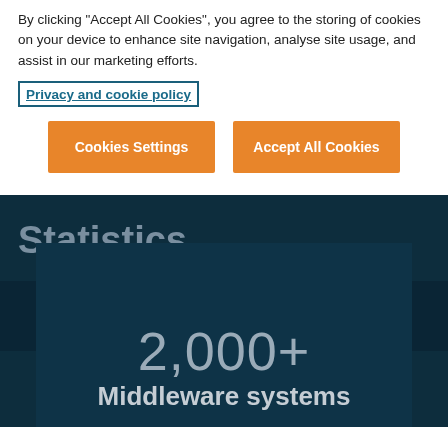By clicking "Accept All Cookies", you agree to the storing of cookies on your device to enhance site navigation, analyse site usage, and assist in our marketing efforts.
Privacy and cookie policy
Cookies Settings
Accept All Cookies
Statistics
2,000+
Middleware systems